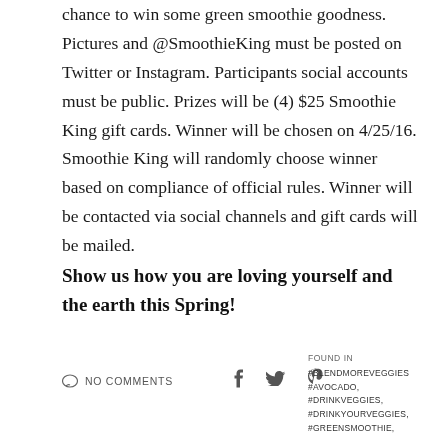chance to win some green smoothie goodness. Pictures and @SmoothieKing must be posted on Twitter or Instagram. Participants social accounts must be public. Prizes will be (4) $25 Smoothie King gift cards. Winner will be chosen on 4/25/16. Smoothie King will randomly choose winner based on compliance of official rules. Winner will be contacted via social channels and gift cards will be mailed.
Show us how you are loving yourself and the earth this Spring!
NO COMMENTS
FOUND IN #BLENDMOREVEGGIES #AVOCADO, #DRINKVEGGIES, #DRINKYOURVEGGIES, #GREENSMOOTHIE,